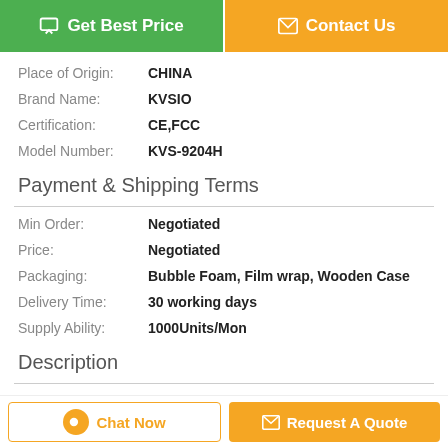[Figure (other): Two buttons: green 'Get Best Price' and orange 'Contact Us']
Place of Origin: CHINA
Brand Name: KVSIO
Certification: CE,FCC
Model Number: KVS-9204H
Payment & Shipping Terms
Min Order: Negotiated
Price: Negotiated
Packaging: Bubble Foam, Film wrap, Wooden Case
Delivery Time: 30 working days
Supply Ability: 1000Units/Mon
Description
[Figure (other): Bottom bar with 'Chat Now' and 'Request A Quote' buttons]